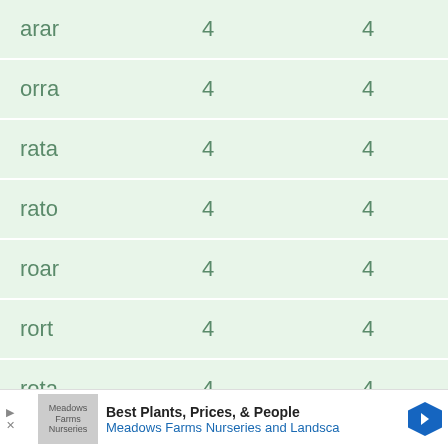| arar | 4 | 4 |
| orra | 4 | 4 |
| rata | 4 | 4 |
| rato | 4 | 4 |
| roar | 4 | 4 |
| rort | 4 | 4 |
| rota | 4 | 4 |
| tara | 4 | 4 |
| taro | 4 | 4 |
| tart |  |  |
Best Plants, Prices, & People — Meadows Farms Nurseries and Landscape (advertisement)